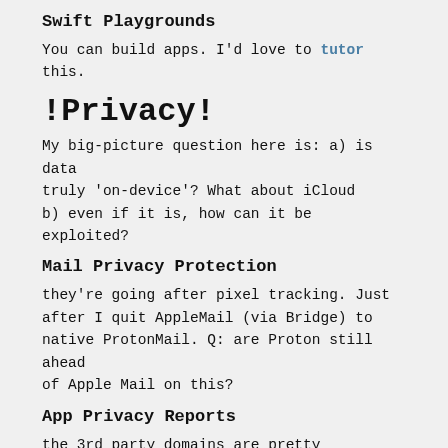Swift Playgrounds
You can build apps. I'd love to tutor this.
!Privacy!
My big-picture question here is: a) is data truly 'on-device'? What about iCloud b) even if it is, how can it be exploited?
Mail Privacy Protection
they're going after pixel tracking. Just after I quit AppleMail (via Bridge) to native ProtonMail. Q: are Proton still ahead of Apple Mail on this?
App Privacy Reports
the 3rd party domains are pretty unintuitive